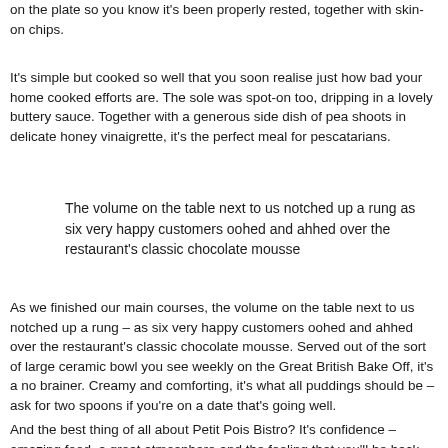on the plate so you know it's been properly rested, together with skin-on chips.
It's simple but cooked so well that you soon realise just how bad your home cooked efforts are. The sole was spot-on too, dripping in a lovely buttery sauce. Together with a generous side dish of pea shoots in delicate honey vinaigrette, it's the perfect meal for pescatarians.
The volume on the table next to us notched up a rung as six very happy customers oohed and ahhed over the restaurant's classic chocolate mousse
As we finished our main courses, the volume on the table next to us notched up a rung – as six very happy customers oohed and ahhed over the restaurant's classic chocolate mousse. Served out of the sort of large ceramic bowl you see weekly on the Great British Bake Off, it's a no brainer. Creamy and comforting, it's what all puddings should be – ask for two spoons if you're on a date that's going well.
And the best thing of all about Petit Pois Bistro? It's confidence – amazing food, a great atmosphere and the feeling that you'll be back again and again….